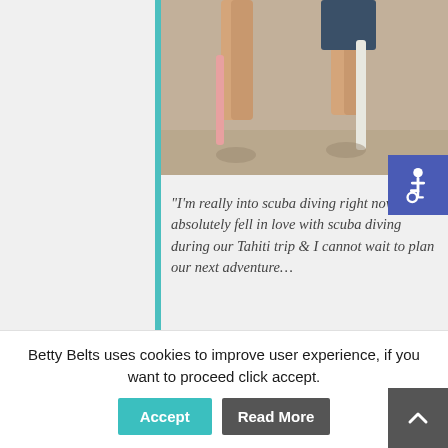[Figure (photo): Photo showing the lower legs and feet of two people standing on a sandy beach holding surfboards]
“I’m really into scuba diving right now. I absolutely fell in love with scuba diving during our Tahiti trip & I cannot wait to plan our next adventure…
[Figure (photo): Photo of a blonde woman holding and nuzzling a baby]
Betty Belts uses cookies to improve user experience, if you want to proceed click accept.